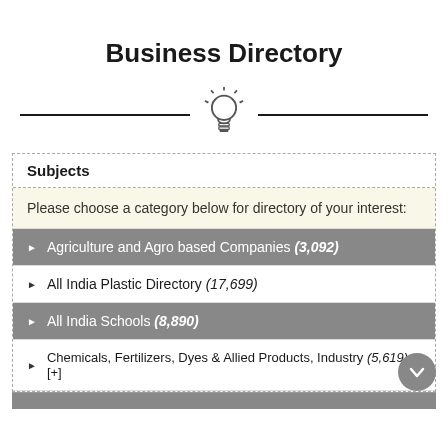Business Directory
[Figure (illustration): Light bulb icon centered between two horizontal divider lines]
Subjects
Please choose a category below for directory of your interest:
Agriculture and Agro based Companies (3,092)
All India Plastic Directory (17,699)
All India Schools (8,890)
Chemicals, Fertilizers, Dyes & Allied Products, Industry (5,619) [+]